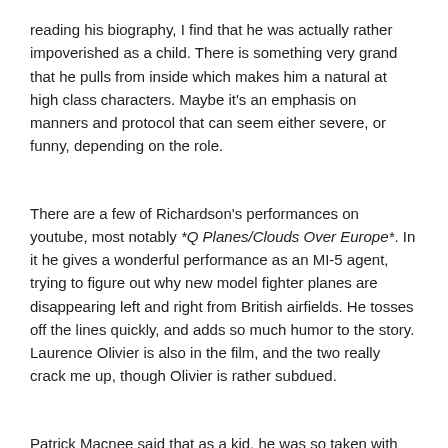reading his biography, I find that he was actually rather impoverished as a child. There is something very grand that he pulls from inside which makes him a natural at high class characters. Maybe it's an emphasis on manners and protocol that can seem either severe, or funny, depending on the role.
There are a few of Richardson's performances on youtube, most notably *Q Planes/Clouds Over Europe*. In it he gives a wonderful performance as an MI-5 agent, trying to figure out why new model fighter planes are disappearing left and right from British airfields. He tosses off the lines quickly, and adds so much humor to the story. Laurence Olivier is also in the film, and the two really crack me up, though Olivier is rather subdued.
Patrick Macnee said that as a kid, he was so taken with Richardson's character in the film that he based his character John Steed of *The Avengers* on it. The movie is a lot of fun to watch, so here it is:
*Q Planes*